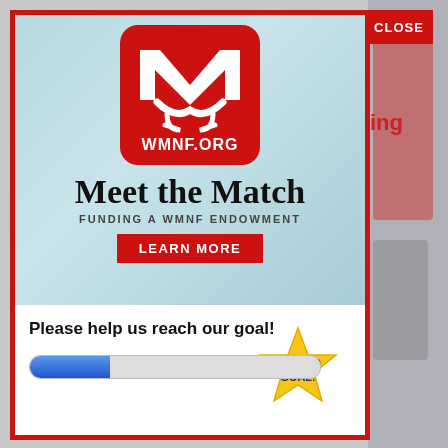[Figure (logo): WMNF.ORG logo in red rounded square with white M and arrows, on a light blue/teal textured background. Below the logo: 'Meet the Match', 'FUNDING A WMNF ENDOWMENT', and a red 'LEARN MORE' button.]
CLOSE
Please help us reach our goal!
[Figure (infographic): Gold star badge with '$200,000 GOAL!' text, and a blue progress bar partially filled on a white background.]